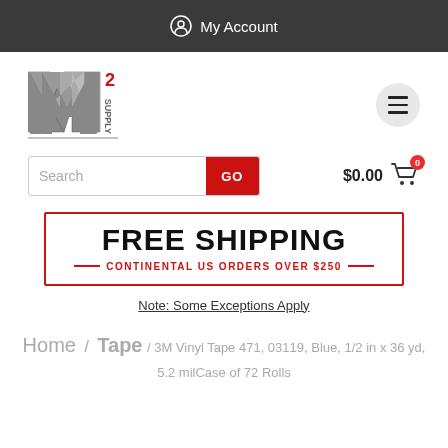My Account
[Figure (logo): M2 Supply logo with stylized M, superscript 2, and SUPPLY text]
Search GO
$0.00 (cart with 0 items)
[Figure (infographic): FREE SHIPPING banner with red border. CONTINENTAL US ORDERS OVER $250 in red text below.]
Note: Some Exceptions Apply
Home / Tape / 3M Vinyl Tape 471, 03119, Blue, 1/2 in x 36 yd, 5.2 milCase of 72 Rolls